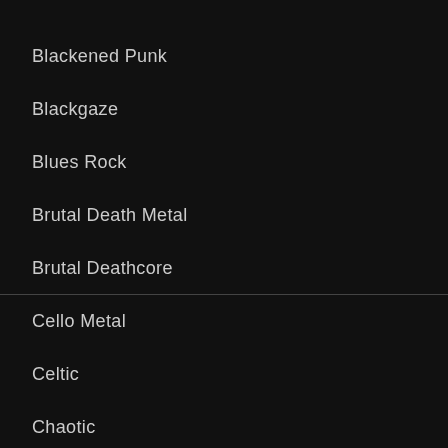Blackened Punk
Blackgaze
Blues Rock
Brutal Death Metal
Brutal Deathcore
Cello Metal
Celtic
Chaotic
Chaotic Hardcore
Classic Rock
Classical
Country Rock
Crossover